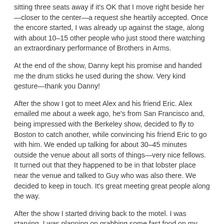sitting three seats away if it's OK that I move right beside her—closer to the center—a request she heartily accepted. Once the encore started, I was already up against the stage, along with about 10–15 other people who just stood there watching an extraordinary performance of Brothers in Arms.
At the end of the show, Danny kept his promise and handed me the drum sticks he used during the show. Very kind gesture—thank you Danny!
After the show I got to meet Alex and his friend Eric. Alex emailed me about a week ago, he's from San Francisco and, being impressed with the Berkeley show, decided to fly to Boston to catch another, while convincing his friend Eric to go with him. We ended up talking for about 30–45 minutes outside the venue about all sorts of things—very nice fellows. It turned out that they happened to be in that lobster place near the venue and talked to Guy who was also there. We decided to keep in touch. It's great meeting great people along the way.
After the show I started driving back to the motel. I was starving. I was planning on grabbing some fast food on my